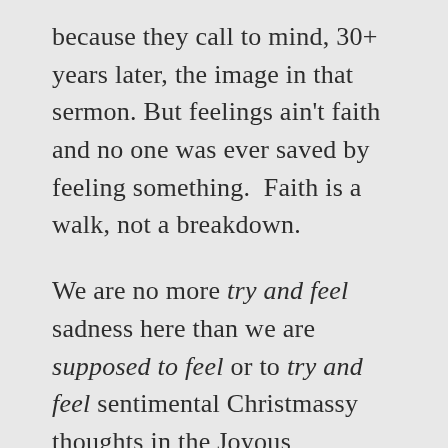because they call to mind, 30+ years later, the image in that sermon. But feelings ain't faith and no one was ever saved by feeling something. Faith is a walk, not a breakdown.
We are no more try and feel sadness here than we are supposed to feel or to try and feel sentimental Christmassy thoughts in the Joyous Mysteries or giddy, triumphalism in the Glorious Mysteries. Feelings may, of course, arise: but that's not the point. We are not here to feel